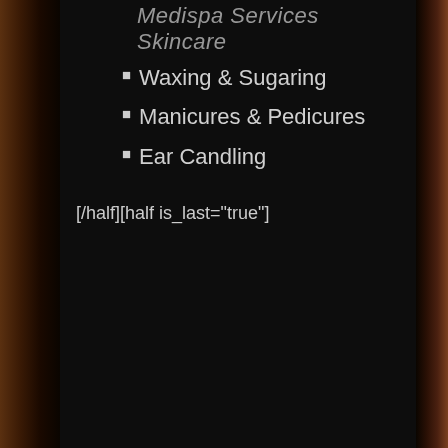MedispaServices Skincare
Waxing & Sugaring
Manicures &  Pedicures
Ear Candling
[/half][half is_last="true"]